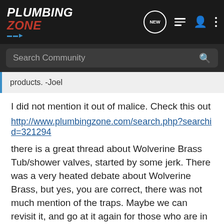PLUMBING ZONE
products. -Joel
I did not mention it out of malice. Check this out
http://www.plumbingzone.com/search.php?searchid=321294
there is a great thread about Wolverine Brass Tub/shower valves, started by some jerk. There was a very heated debate about Wolverine Brass, but yes, you are correct, there was not much mention of the traps. Maybe we can revisit it, and go at it again for those who are in opposition to the company.